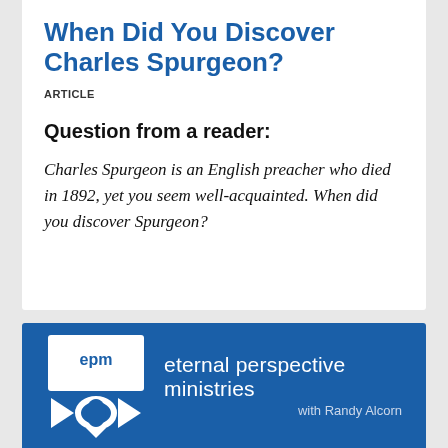When Did You Discover Charles Spurgeon?
ARTICLE
Question from a reader:
Charles Spurgeon is an English preacher who died in 1892, yet you seem well-acquainted. When did you discover Spurgeon?
[Figure (logo): Eternal Perspective Ministries (EPM) logo with white icon on blue background and text 'eternal perspective ministries with Randy Alcorn']